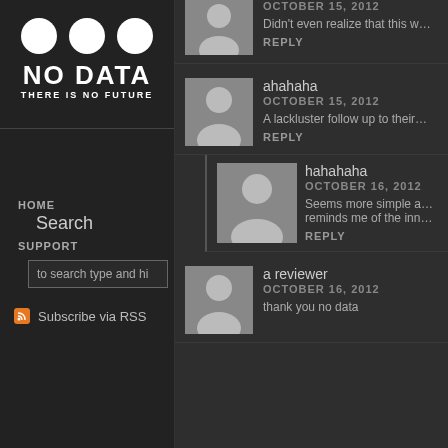[Figure (logo): No Data — There Is No Future logo with three white circles above bold white text]
HOME
Search
SUPPORT
to search type and hi
Subscribe via RSS
Mark
OCTOBER 15, 2012
Didn't even realize that this w…
REPLY
ahahaha
OCTOBER 15, 2012
A lackluster follow up to their…
REPLY
hahahaha
OCTOBER 16, 2012
Seems more simple a…
reminds me of the inn…
REPLY
a reviewer
OCTOBER 16, 2012
thank you no data